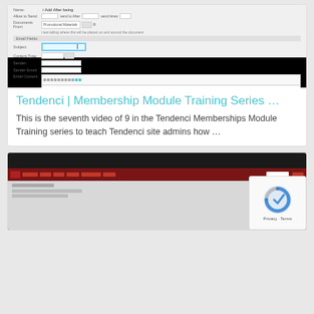[Figure (screenshot): Screenshot of a web form interface showing email configuration fields, followed by a black video player area]
Tendenci | Membership Module Training Series …
This is the seventh video of 9 in the Tendenci Memberships Module Training series to teach Tendenci site admins how …
[Figure (screenshot): Screenshot of a website with dark red navigation bar and gray content area, partially overlaid by a reCAPTCHA widget showing Privacy and Terms]